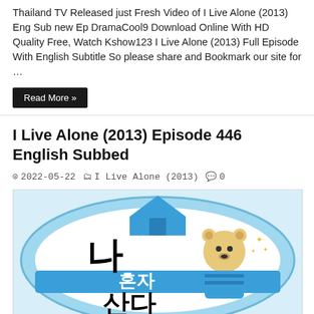Thailand TV Released just Fresh Video of I Live Alone (2013) Eng Sub new Ep DramaCool9 Download Online With HD Quality Free, Watch Kshow123 I Live Alone (2013) Full Episode With English Subtitle So please share and Bookmark our site for …
Read More »
I Live Alone (2013) Episode 446 English Subbed
2022-05-22   I Live Alone (2013)   0
[Figure (illustration): I Live Alone (2013) Korean TV show logo featuring Korean text (나 혼자 산다) on a blue oval badge with a cartoon bear and house icon]